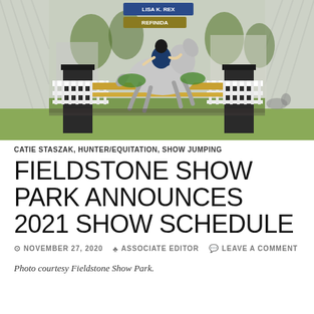[Figure (photo): Horse and rider jumping over a white fence obstacle at an equestrian show. Signs reading 'LISA K. REX' and 'REFINIDA' visible in background. Green grass field, trees in background.]
CATIE STASZAK, HUNTER/EQUITATION, SHOW JUMPING
FIELDSTONE SHOW PARK ANNOUNCES 2021 SHOW SCHEDULE
NOVEMBER 27, 2020  ASSOCIATE EDITOR  LEAVE A COMMENT
Photo courtesy Fieldstone Show Park.